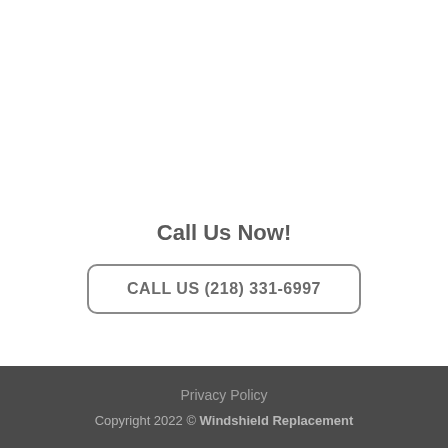Call Us Now!
CALL US (218) 331-6997
Privacy Policy
Copyright 2022 © Windshield Replacement